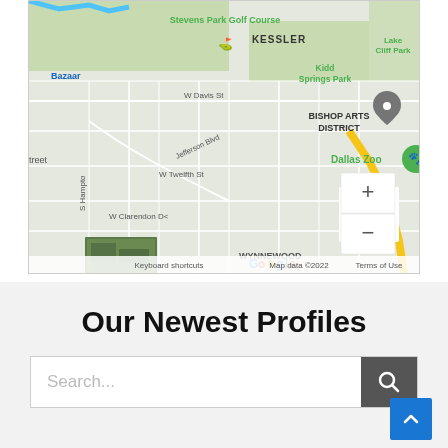[Figure (map): Google Maps screenshot showing Dallas area including Bishop Arts District, Dallas Zoo, Kessler, Kidd Springs Park, Lake Cliff Park, Wynnewood, S Hampton, Jefferson Blvd. Includes zoom controls (+/-) and Google branding. Map data ©2022.]
Our Newest Profiles
Search...